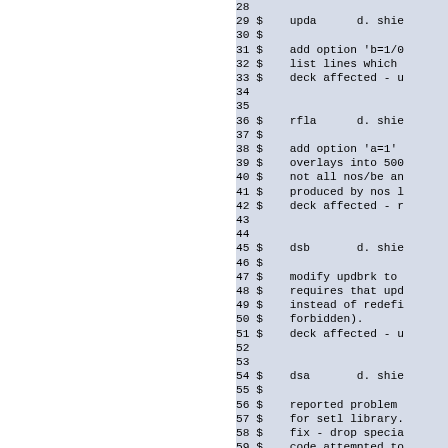28
29 $    upda      d. shie
30 $
31 $    add option 'b=1/0
32 $    list lines which
33 $    deck affected - u
34
35
36 $    rfla      d. shie
37 $
38 $    add option 'a=1'
39 $    overlays into 500
40 $    not all nos/be an
41 $    produced by nos l
42 $    deck affected - r
43
44
45 $    dsb       d. shie
46 $
47 $    modify updbrk to
48 $    requires that upd
49 $    instead of redefi
50 $    forbidden).
51 $    deck affected - u
52
53
54 $    dsa       d. shie
55 $
56 $    reported problem
57 $    for setl library.
58 $    fix - drop specia
59 $    code attempted to